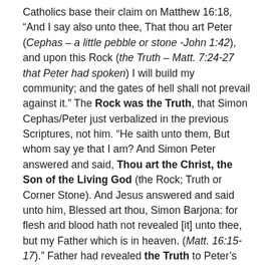Catholics base their claim on Matthew 16:18, “And I say also unto thee, That thou art Peter (Cephas – a little pebble or stone -John 1:42), and upon this Rock (the Truth – Matt. 7:24-27 that Peter had spoken) I will build my community; and the gates of hell shall not prevail against it.” The Rock was the Truth, that Simon Cephas/Peter just verbalized in the previous Scriptures, not him. “He saith unto them, But whom say ye that I am? And Simon Peter answered and said, Thou art the Christ, the Son of the Living God (the Rock; Truth or Corner Stone). And Jesus answered and said unto him, Blessed art thou, Simon Barjona: for flesh and blood hath not revealed [it] unto thee, but my Father which is in heaven. (Matt. 16:15-17).” Father had revealed the Truth to Peter’s spirit. It would be Truth that Christ would build His community on, not Peter, a man.